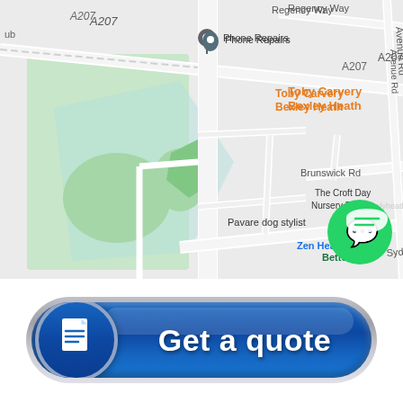[Figure (map): Google Maps screenshot showing area around Bexleyheath, UK. Shows roads including A207, Regency Way, Brunswick Rd, Sydney Rd, Dallin Rd, Avenue Rd. Points of interest include: Phone Repairs, Toby Carvery Bexley Heath (orange), Asda Bexleyheath Crook Log Supermarket (blue), Better Gym (green), The Croft Day Nursery Bexleyheath, Pavare dog stylist, Zen Health. Green WhatsApp button overlay in bottom right of map.]
[Figure (infographic): Blue rounded pill-shaped button with document icon on left circle and text 'Get a quote' in white bold text on blue gradient background.]